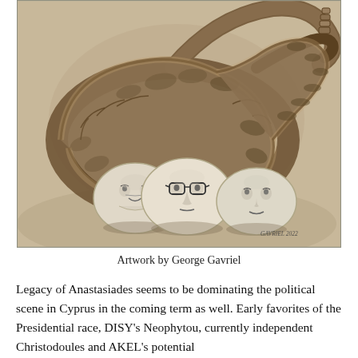[Figure (illustration): Artwork showing a coiled rattlesnake with three caricatured human faces depicted as round stone-like objects beneath it. Signed 'GAVRIEL 2022' in the lower right corner. Drawn in sepia/grayscale tones.]
Artwork by George Gavriel
Legacy of Anastasiades seems to be dominating the political scene in Cyprus in the coming term as well. Early favorites of the Presidential race, DISY's Neophytou, currently independent Christodoules and AKEL's potential